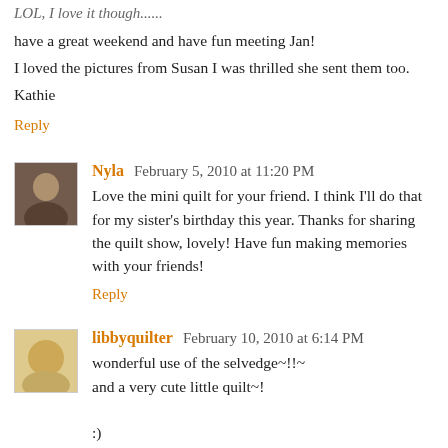LOL, I love it though......
have a great weekend and have fun meeting Jan!
I loved the pictures from Susan I was thrilled she sent them too.
Kathie
Reply
Nyla  February 5, 2010 at 11:20 PM
Love the mini quilt for your friend. I think I'll do that for my sister's birthday this year. Thanks for sharing the quilt show, lovely! Have fun making memories with your friends!
Reply
libbyquilter  February 10, 2010 at 6:14 PM
wonderful use of the selvedge~!!~
and a very cute little quilt~!

:)
libbyQ